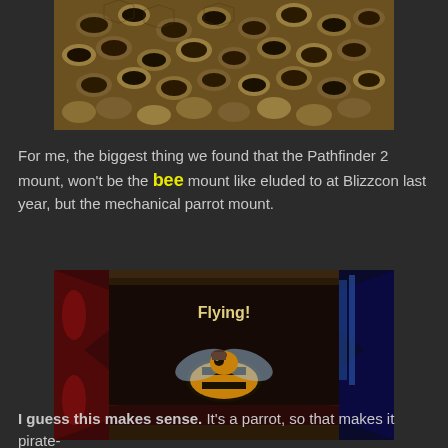[Figure (photo): Close-up photo of many bees on honeycomb]
For me, the biggest thing we found that the Pathfinder 2 mount, won't be the bee mount like eluded to at Blizzcon last year, but the mechanical parrot mount.
[Figure (screenshot): World of Warcraft game screenshot showing a bee mount flying, with text 'Flying!' displayed on screen]
I guess this makes sense. It's a parrot, so that makes it pirate-